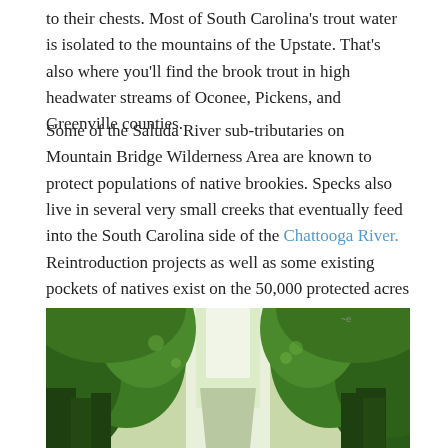to their chests. Most of South Carolina's trout water is isolated to the mountains of the Upstate. That's also where you'll find the brook trout in high headwater streams of Oconee, Pickens, and Greenville counties.
Some of the Saluda River sub-tributaries on Mountain Bridge Wilderness Area are known to protect populations of native brookies. Specks also live in several very small creeks that eventually feed into the South Carolina side of the Chattooga River. Reintroduction projects as well as some existing pockets of natives exist on the 50,000 protected acres of forest at Jocassee Gorges.
[Figure (photo): A forest path or road flanked by dense green deciduous trees forming a canopy overhead, with bright sky visible through the center gap.]